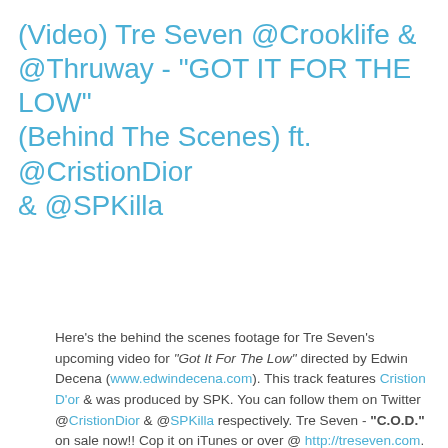(Video) Tre Seven @Crooklife & @Thruway - "GOT IT FOR THE LOW" (Behind The Scenes) ft. @CristionDior & @SPKilla
Here's the behind the scenes footage for Tre Seven's upcoming video for "Got It For The Low" directed by Edwin Decena (www.edwindecena.com). This track features Cristion D'or & was produced by SPK. You can follow them on Twitter @CristionDior & @SPKilla respectively. Tre Seven - "C.O.D." on sale now!! Cop it on iTunes or over @ http://treseven.com. Follow @Crooklife @Thruway a.k.a. @Tre_Sev.